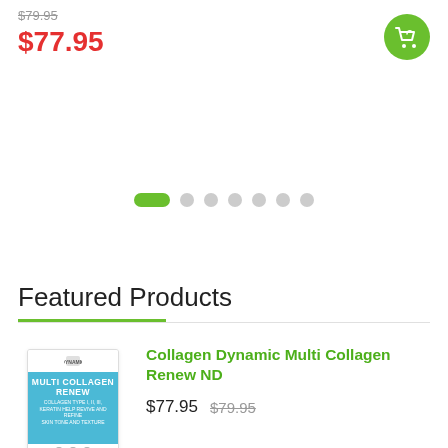$79.95 (strikethrough) $77.95 (sale price)
[Figure (illustration): Green circular cart button with shopping cart icon]
[Figure (infographic): Carousel navigation dots: one green pill-shaped active dot followed by 6 grey circular inactive dots]
Featured Products
[Figure (photo): Product image of Collagen Dynamic Multi Collagen Renew container with teal/blue label]
Collagen Dynamic Multi Collagen Renew ND
$77.95  $79.95 (strikethrough)